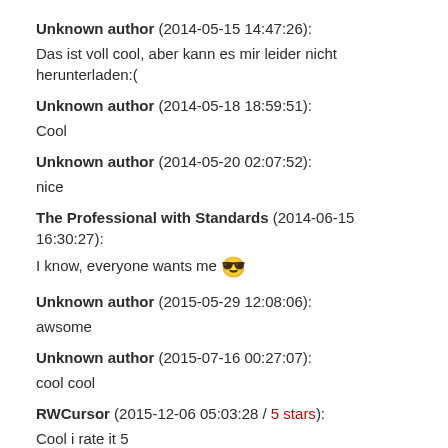Unknown author (2014-05-15 14:47:26):
Das ist voll cool, aber kann es mir leider nicht herunterladen:(
Unknown author (2014-05-18 18:59:51):
Cool
Unknown author (2014-05-20 02:07:52):
nice
The Professional with Standards (2014-06-15 16:30:27):
I know, everyone wants me 😎
Unknown author (2015-05-29 12:08:06):
awsome
Unknown author (2015-07-16 00:27:07):
cool cool
RWCursor (2015-12-06 05:03:28 / 5 stars):
Cool i rate it 5
check out my Cursor Named 'The Rainbow Cursor'
RATE 5